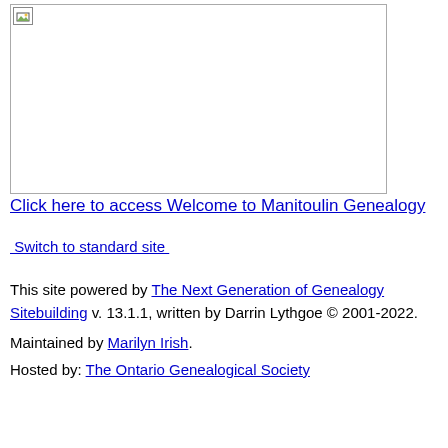[Figure (photo): Broken/missing image placeholder with small icon in top-left corner]
Click here to access Welcome to Manitoulin Genealogy
Switch to standard site
This site powered by The Next Generation of Genealogy Sitebuilding v. 13.1.1, written by Darrin Lythgoe © 2001-2022.
Maintained by Marilyn Irish.
Hosted by: The Ontario Genealogical Society